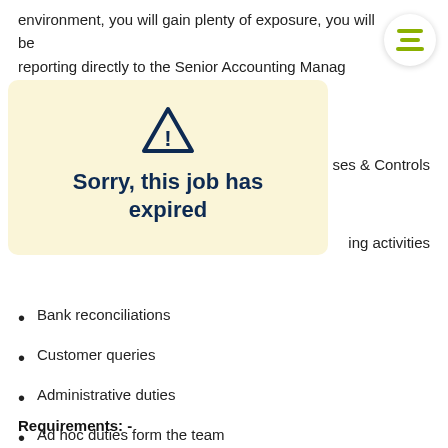environment, you will gain plenty of exposure, you will be reporting directly to the Senior Accounting Manag...
[Figure (infographic): Warning overlay with triangle exclamation icon and text: Sorry, this job has expired, on a cream/yellow background with rounded corners]
ses & Controls
ing activities
Bank reconciliations
Customer queries
Administrative duties
Ad hoc duties form the team
Requirements: -